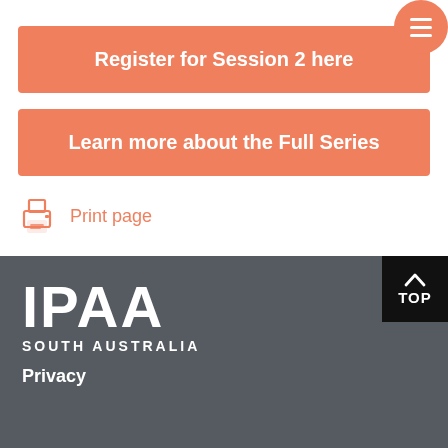Register for Session 2 here
Learn more about the Full Series
Print page
[Figure (logo): IPAA South Australia logo in white on dark grey background]
Privacy
TOP